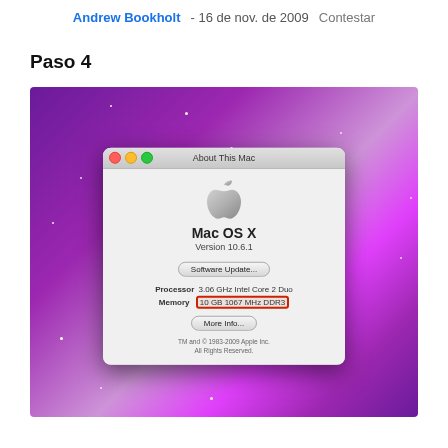Andrew Bookholt - 16 de nov. de 2009   Contestar
Paso 4
[Figure (screenshot): Screenshot of Mac OS X 'About This Mac' dialog showing Version 10.6.1, Processor 3.06 GHz Intel Core 2 Duo, Memory 10 GB 1067 MHz DDR3 (highlighted in red box), displayed over a purple/pink Mac desktop background with stars.]